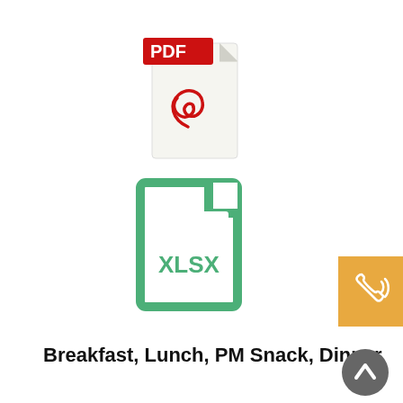[Figure (illustration): PDF file icon with red PDF label banner at top and red Acrobat swirl symbol on white page body]
[Figure (illustration): XLSX file icon with green border and green XLSX text label on white page body]
[Figure (illustration): Orange/gold square button with white phone/call icon with sound waves]
Breakfast, Lunch, PM Snack, Dinner
[Figure (illustration): PDF file icon with red PDF label banner at top and red Acrobat swirl symbol on white page body (partially visible at bottom)]
[Figure (illustration): Dark gray circular button with white upward chevron/arrow icon]